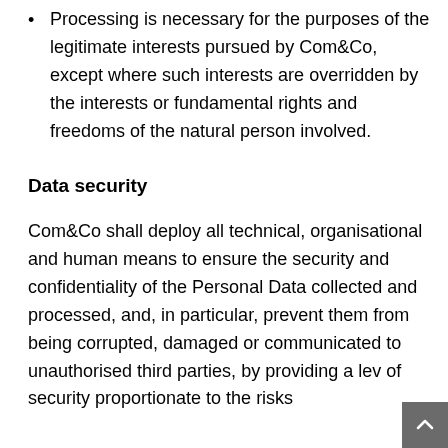Processing is necessary for the purposes of the legitimate interests pursued by Com&Co, except where such interests are overridden by the interests or fundamental rights and freedoms of the natural person involved.
Data security
Com&Co shall deploy all technical, organisational and human means to ensure the security and confidentiality of the Personal Data collected and processed, and, in particular, prevent them from being corrupted, damaged or communicated to unauthorised third parties, by providing a lev of security proportionate to the risks